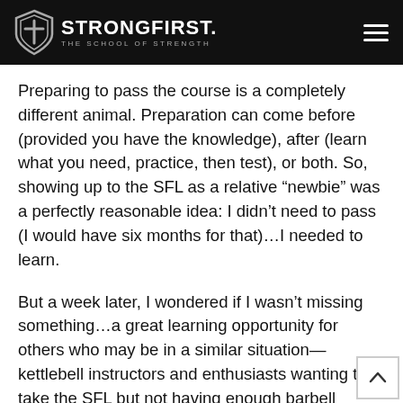StrongFirst. The School of Strength
Preparing to pass the course is a completely different animal. Preparation can come before (provided you have the knowledge), after (learn what you need, practice, then test), or both. So, showing up to the SFL as a relative “newbie” was a perfectly reasonable idea: I didn’t need to pass (I would have six months for that)…I needed to learn.
But a week later, I wondered if I wasn’t missing something…a great learning opportunity for others who may be in a similar situation—kettlebell instructors and enthusiasts wanting to take the SFL but not having enough barbell background to train well. Was it possible to prepare for the SFL lifts using